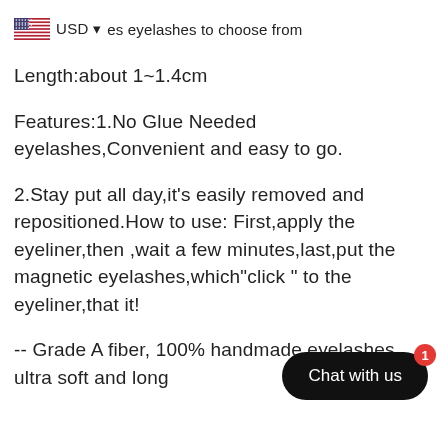USD ▾ es eyelashes to choose from
Length:about 1~1.4cm
Features:1.No Glue Needed eyelashes,Convenient and easy to go.
2.Stay put all day,it's easily removed and repositioned.How to use: First,apply the eyeliner,then ,wait a few minutes,last,put the magnetic eyelashes,which"click " to the eyeliner,that it!
-- Grade A fiber, 100% handmade eyelashes, ultra soft and long